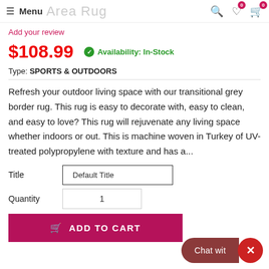≡ Menu  Area Rug
Add your review
$108.99   ✓ Availability: In-Stock
Type: SPORTS & OUTDOORS
Refresh your outdoor living space with our transitional grey border rug. This rug is easy to decorate with, easy to clean, and easy to love? This rug will rejuvenate any living space whether indoors or out. This is machine woven in Turkey of UV-treated polypropylene with texture and has a...
Title  Default Title
Quantity  1
ADD TO CART
Chat wit  ×